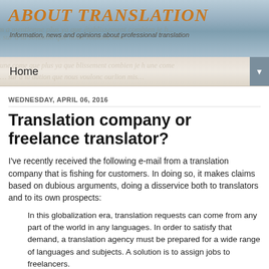ABOUT TRANSLATION
Information, news and opinions about professional translation
Home
WEDNESDAY, APRIL 06, 2016
Translation company or freelance translator?
I've recently received the following e-mail from a translation company that is fishing for customers. In doing so, it makes claims based on dubious arguments, doing a disservice both to translators and to its own prospects:
In this globalization era, translation requests can come from any part of the world in any languages. In order to satisfy that demand, a translation agency must be prepared for a wide range of languages and subjects. A solution is to assign jobs to freelancers.